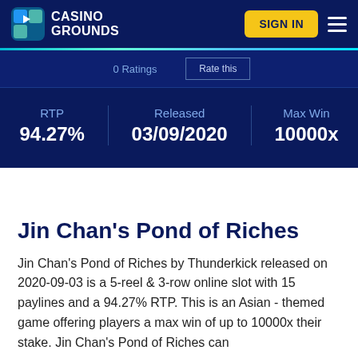CASINO GROUNDS
0 Ratings  Rate this
RTP 94.27%  Released 03/09/2020  Max Win 10000x
Jin Chan's Pond of Riches
Jin Chan's Pond of Riches by Thunderkick released on 2020-09-03 is a 5-reel & 3-row online slot with 15 paylines and a 94.27% RTP. This is an Asian - themed game offering players a max win of up to 10000x their stake. Jin Chan's Pond of Riches can